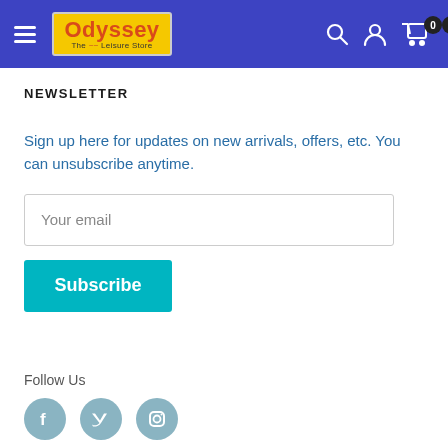[Figure (screenshot): Odyssey The Leisure Store website header with blue background, hamburger menu, logo, search icon, user icon, and cart icon showing 0 items]
NEWSLETTER
Sign up here for updates on new arrivals, offers, etc. You can unsubscribe anytime.
[Figure (other): Email input field with placeholder text 'Your email']
[Figure (other): Subscribe button in teal/cyan color]
Follow Us
[Figure (other): Social media icons: Facebook, Twitter, Instagram in blue-grey circles]